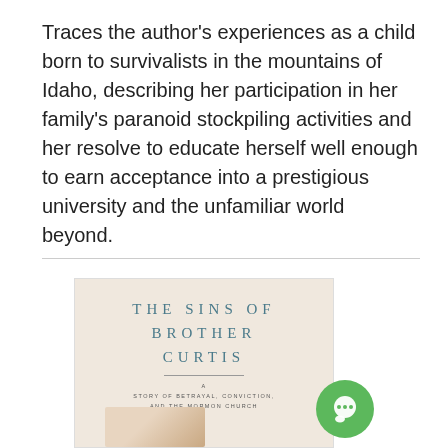Traces the author's experiences as a child born to survivalists in the mountains of Idaho, describing her participation in her family's paranoid stockpiling activities and her resolve to educate herself well enough to earn acceptance into a prestigious university and the unfamiliar world beyond.
[Figure (photo): Book cover of 'THE SINS OF BROTHER CURTIS: A Story of Betrayal, Conviction, and the Mormon Church' with a beige/cream background and teal lettering, partially visible with a green chat bubble icon overlaid in the bottom right corner.]